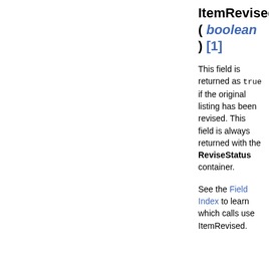ItemRevised ( boolean ) [1]
This field is returned as true if the original listing has been revised. This field is always returned with the ReviseStatus container.
See the Field Index to learn which calls use ItemRevised.